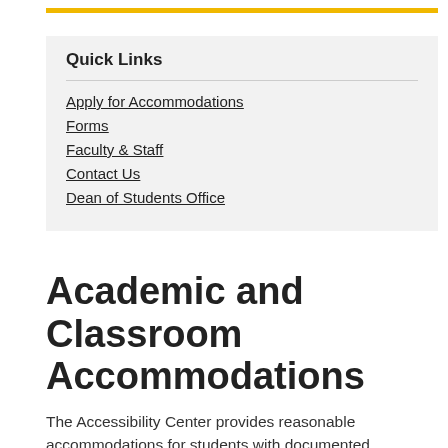Quick Links
Apply for Accommodations
Forms
Faculty & Staff
Contact Us
Dean of Students Office
Academic and Classroom Accommodations
The Accessibility Center provides reasonable accommodations for students with documented